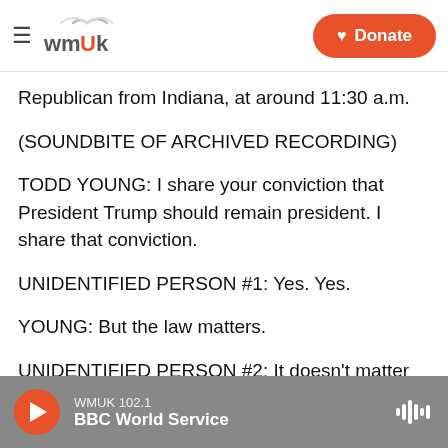wmuk | Donate
Republican from Indiana, at around 11:30 a.m.
(SOUNDBITE OF ARCHIVED RECORDING)
TODD YOUNG: I share your conviction that President Trump should remain president. I share that conviction.
UNIDENTIFIED PERSON #1: Yes. Yes.
YOUNG: But the law matters.
UNIDENTIFIED PERSON #2: It doesn't matter with the Democrats.
WMUK 102.1 BBC World Service